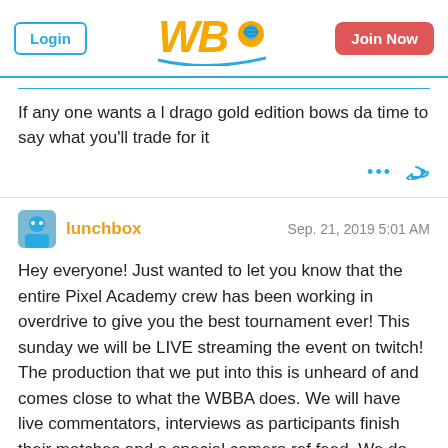Login | WBO | Join Now
If any one wants a l drago gold edition bows da time to say what you'll trade for it
lunchbox  Sep. 21, 2019  5:01 AM

Hey everyone! Just wanted to let you know that the entire Pixel Academy crew has been working in overdrive to give you the best tournament ever! This sunday we will be LIVE streaming the event on twitch! The production that we put into this is unheard of and comes close to what the WBBA does. We will have live commentators, interviews as participants finish their matches and a special camera ref feed. We do this all for you! See you all sunday and good